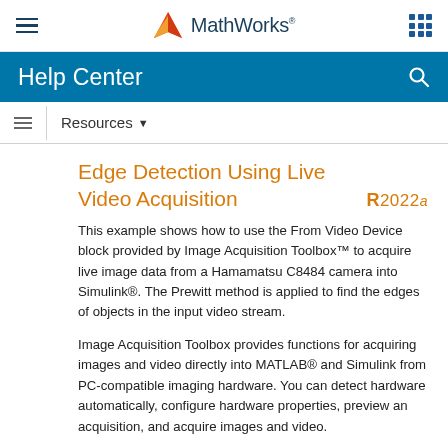MathWorks Help Center
Resources
Edge Detection Using Live Video Acquisition
R2022a
This example shows how to use the From Video Device block provided by Image Acquisition Toolbox™ to acquire live image data from a Hamamatsu C8484 camera into Simulink®. The Prewitt method is applied to find the edges of objects in the input video stream.
Image Acquisition Toolbox provides functions for acquiring images and video directly into MATLAB® and Simulink from PC-compatible imaging hardware. You can detect hardware automatically, configure hardware properties, preview an acquisition, and acquire images and video.
This example requires Image Acquisition Toolbox and